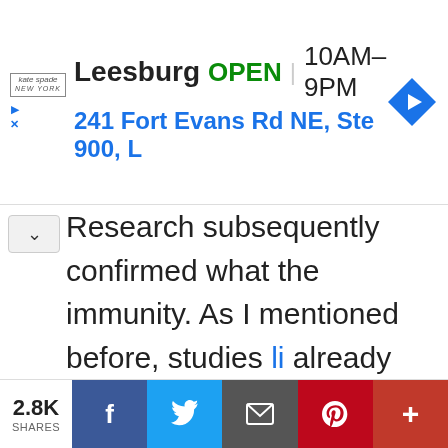[Figure (screenshot): Kate Spade store ad banner showing Leesburg location OPEN 10AM-9PM at 241 Fort Evans Rd NE, Ste 900, L with navigation icon]
Research subsequently confirmed what the immunity. As I mentioned before, studies li already have some residual level of partial found out that most people who were expo fear from COVID, again because of cross-re most of us.
The important thing to remember is that th available since the end of February of 2020 initiative approved by President Trump, wa
2.8K SHARES